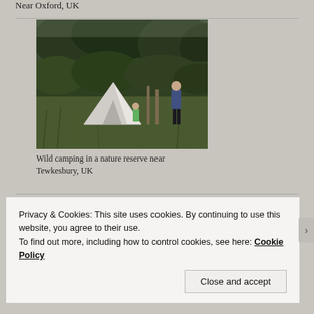Near Oxford, UK
[Figure (photo): Wild camping scene in a nature reserve: a white tipi-style tent in tall grass with trees and dense vegetation in the background. A person in a blue jacket stands to the right.]
Wild camping in a nature reserve near Tewkesbury, UK
Privacy & Cookies: This site uses cookies. By continuing to use this website, you agree to their use.
To find out more, including how to control cookies, see here: Cookie Policy
Close and accept